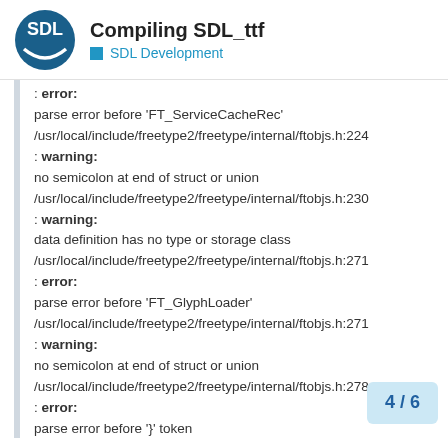Compiling SDL_ttf — SDL Development
: error:
parse error before 'FT_ServiceCacheRec'
/usr/local/include/freetype2/freetype/internal/ftobjs.h:224
: warning:
no semicolon at end of struct or union
/usr/local/include/freetype2/freetype/internal/ftobjs.h:230
: warning:
data definition has no type or storage class
/usr/local/include/freetype2/freetype/internal/ftobjs.h:271
: error:
parse error before 'FT_GlyphLoader'
/usr/local/include/freetype2/freetype/internal/ftobjs.h:271
: warning:
no semicolon at end of struct or union
/usr/local/include/freetype2/freetype/internal/ftobjs.h:278
: error:
parse error before '}' token
/usr/local/include/freetype2/freetype/i...
: warning:
data definition has no type or storage class